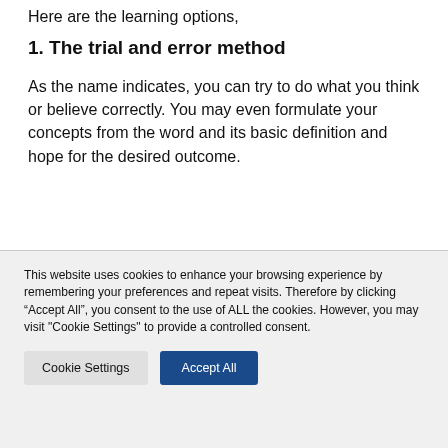Here are the learning options,
1. The trial and error method
As the name indicates, you can try to do what you think or believe correctly. You may even formulate your concepts from the word and its basic definition and hope for the desired outcome.
This website uses cookies to enhance your browsing experience by remembering your preferences and repeat visits. Therefore by clicking “Accept All”, you consent to the use of ALL the cookies. However, you may visit "Cookie Settings" to provide a controlled consent.